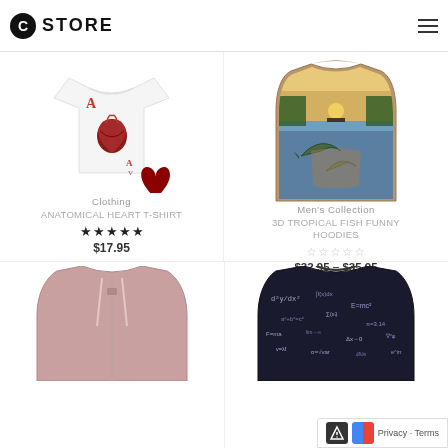C STORE
[Figure (photo): White t-shirt with anatomical heart ace of hearts playing card design]
Clothing
ANATOMICAL HEART T-SHIRT
★★★★★ $17.95
[Figure (photo): Hoodie with 3D tropical fish and lake sunset scenic print]
Men's Collection
3D TROPICAL FISH FUNNY HOODIES
☆☆☆☆☆ $32.95 – $35.95
[Figure (photo): Pink/mauve gradient hoodie, partially visible]
[Figure (photo): Dark hoodie with math equations print, partially visible]